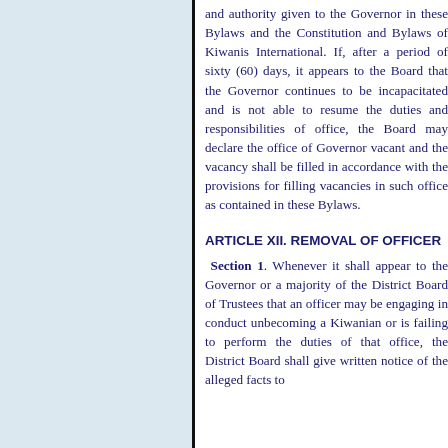and authority given to the Governor in these Bylaws and the Constitution and Bylaws of Kiwanis International. If, after a period of sixty (60) days, it appears to the Board that the Governor continues to be incapacitated and is not able to resume the duties and responsibilities of office, the Board may declare the office of Governor vacant and the vacancy shall be filled in accordance with the provisions for filling vacancies in such office as contained in these Bylaws.
ARTICLE XII. REMOVAL OF OFFICERS
Section 1. Whenever it shall appear to the Governor or a majority of the District Board of Trustees that an officer may be engaging in conduct unbecoming a Kiwanian or is failing to perform the duties of that office, the District Board shall give written notice of the alleged facts to